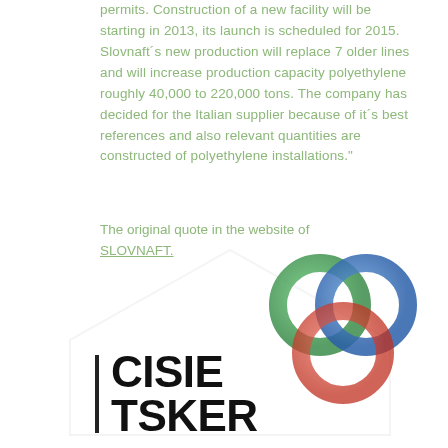permits. Construction of a new facility will be starting in 2013, its launch is scheduled for 2015. Slovnaft´s new production will replace 7 older lines and will increase production capacity polyethylene roughly 40,000 to 220,000 tons. The company has decided for the Italian supplier because of it´s best references and also relevant quantities are constructed of polyethylene installations."
The original quote in the website of SLOVNAFT.
[Figure (logo): CISIE TSKER logo with three overlapping circles in green, blue, and red/orange, and bold black text CISIE TSKER with a vertical bar]